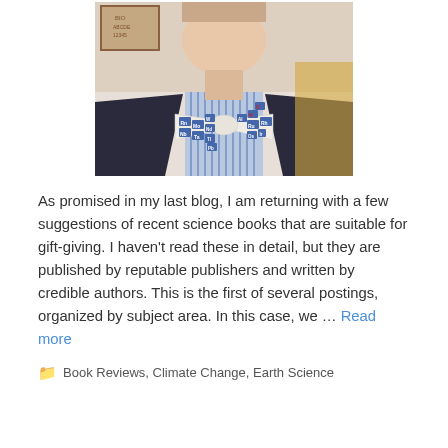[Figure (photo): Photo of a man wearing a bow tie printed with periodic table element symbols, wearing a striped shirt and dark jacket]
As promised in my last blog, I am returning with a few suggestions of recent science books that are suitable for gift-giving. I haven't read these in detail, but they are published by reputable publishers and written by credible authors. This is the first of several postings, organized by subject area. In this case, we … Read more
Book Reviews, Climate Change, Earth Science